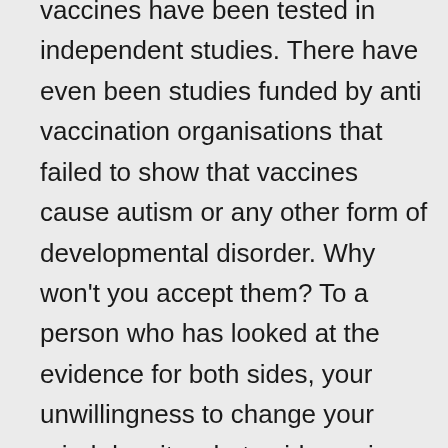vaccines have been tested in independent studies. There have even been studies funded by anti vaccination organisations that failed to show that vaccines cause autism or any other form of developmental disorder. Why won't you accept them? To a person who has looked at the evidence for both sides, your unwillingness to change your mind despite what evidence is produced; sort of betrays you as “not a scientific thinker”. Because I would readily accept your claims, if you showed me enough high quality evidence. Would you even consider that you may be misinformed about